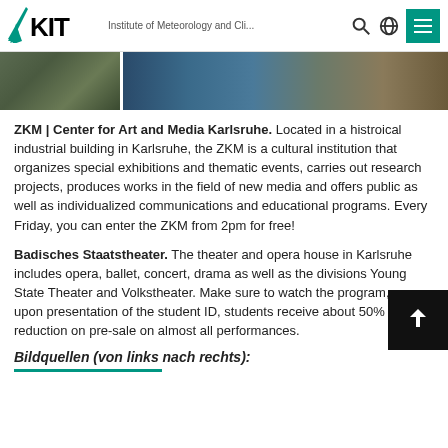KIT | Institute of Meteorology and Cli...
[Figure (photo): Two photo panels: left showing a covered bicycle parking area, right showing a modern building exterior at night with blue/purple lighting]
ZKM | Center for Art and Media Karlsruhe. Located in a histroical industrial building in Karlsruhe, the ZKM is a cultural institution that organizes special exhibitions and thematic events, carries out research projects, produces works in the field of new media and offers public as well as individualized communications and educational programs. Every Friday, you can enter the ZKM from 2pm for free!
Badisches Staatstheater. The theater and opera house in Karlsruhe includes opera, ballet, concert, drama as well as the divisions Young State Theater and Volkstheater. Make sure to watch the program, as upon presentation of the student ID, students receive about 50% reduction on pre-sale on almost all performances.
Bildquellen (von links nach rechts):